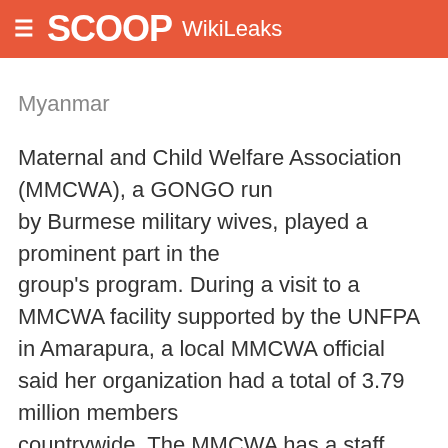SCOOP WikiLeaks
Myanmar Maternal and Child Welfare Association (MMCWA), a GONGO run by Burmese military wives, played a prominent part in the group's program. During a visit to a MMCWA facility supported by the UNFPA in Amarapura, a local MMCWA official said her organization had a total of 3.79 million members countrywide. The MMCWA has a staff member assigned to the UNFPA's office in Rangoon to help direct the agency's